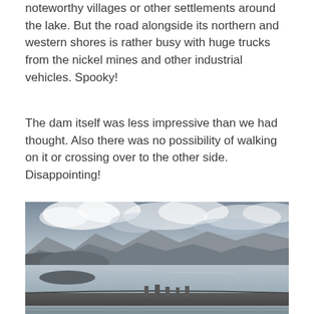noteworthy villages or other settlements around the lake. But the road alongside its northern and western shores is rather busy with huge trucks from the nickel mines and other industrial vehicles. Spooky!
The dam itself was less impressive than we had thought. Also there was no possibility of walking on it or crossing over to the other side. Disappointing!
[Figure (photo): Landscape photograph of a dam and reservoir with mountains in the background under a cloudy sky. The foreground shows the curved top of a dam structure with water flowing over it, and a wide reservoir stretching into the distance with hills and mountains behind.]